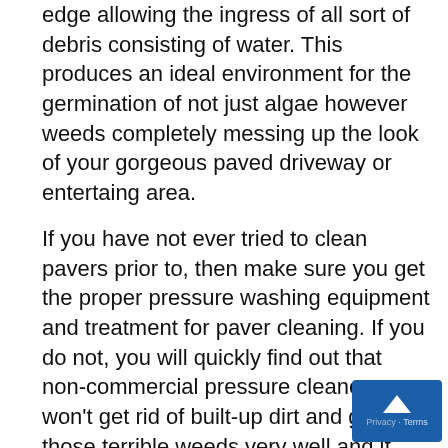edge allowing the ingress of all sort of debris consisting of water. This produces an ideal environment for the germination of not just algae however weeds completely messing up the look of your gorgeous paved driveway or entertaing area.
If you have not ever tried to clean pavers prior to, then make sure you get the proper pressure washing equipment and treatment for paver cleaning. If you do not, you will quickly find out that non-commercial pressure cleaners won't get rid of built-up dirt and gunk or those terrible weeds very well and if you don't utilize an unique treatment in combination with the pressure washing procedure you will find that the mo algae and weeds will return almost right bef your eyes. Also the work rate of small pressure